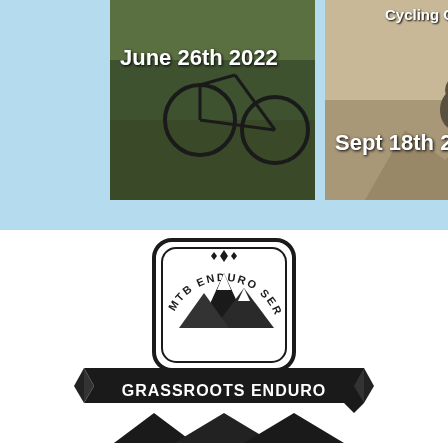[Figure (photo): Mountain bike rider on grassy trail with date overlay June 26th 2022]
[Figure (photo): Cycling club event photo with text Cycling Club and date Sept 18th 2022]
[Figure (logo): Grassroots Enduro MTB Enduro Series logo with mountain graphic and banner]